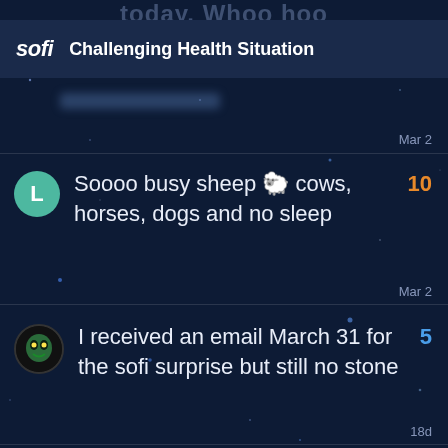today. Whoo hoo
sofi   Challenging Health Situation
Mar 2
Soooo busy sheep 🐑 cows, horses, dogs and no sleep   10
Mar 2
I received an email March 31 for the sofi surprise but still no stone   5
18d